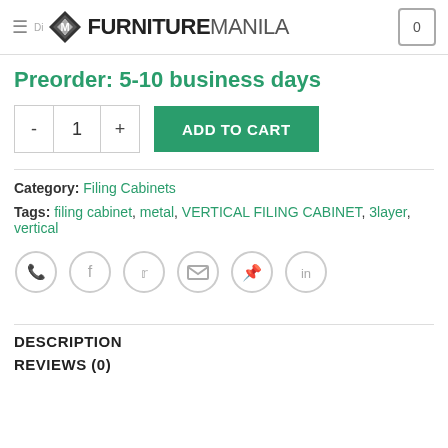Furniture Manila
Preorder: 5-10 business days
Category: Filing Cabinets
Tags: filing cabinet, metal, VERTICAL FILING CABINET, 3layer, vertical
[Figure (infographic): Social sharing icons row: WhatsApp, Facebook, Twitter, Email, Pinterest, LinkedIn]
DESCRIPTION
REVIEWS (0)